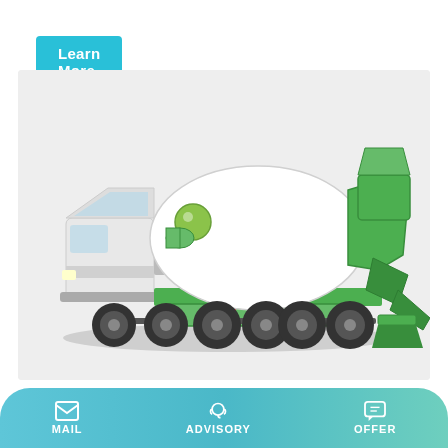Learn More
[Figure (photo): A concrete mixer truck with a white drum and green chassis/frame, mounted on a multi-axle heavy truck base. The truck cab is white/light colored and the mixing drum machinery components are bright green.]
Concrete Pump For Sale, Used Concrete Pump, Truck Mounted
MAIL   ADVISORY   OFFER